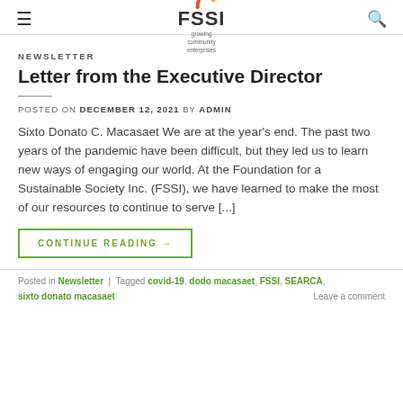FSSI — growing community enterprises
NEWSLETTER
Letter from the Executive Director
POSTED ON DECEMBER 12, 2021 BY ADMIN
Sixto Donato C. Macasaet We are at the year's end. The past two years of the pandemic have been difficult, but they led us to learn new ways of engaging our world. At the Foundation for a Sustainable Society Inc. (FSSI), we have learned to make the most of our resources to continue to serve [...]
CONTINUE READING →
Posted in Newsletter | Tagged covid-19, dodo macasaet, FSSI, SEARCA, sixto donato macasaet    Leave a comment